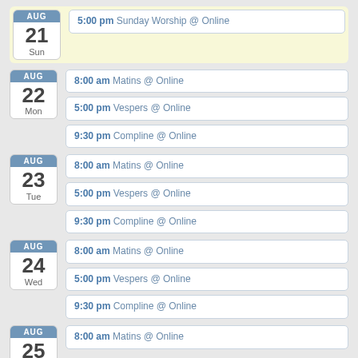AUG 21 Sun — 5:00 pm Sunday Worship @ Online
AUG 22 Mon — 8:00 am Matins @ Online; 5:00 pm Vespers @ Online; 9:30 pm Compline @ Online
AUG 23 Tue — 8:00 am Matins @ Online; 5:00 pm Vespers @ Online; 9:30 pm Compline @ Online
AUG 24 Wed — 8:00 am Matins @ Online; 5:00 pm Vespers @ Online; 9:30 pm Compline @ Online
AUG 25 — 8:00 am Matins @ Online